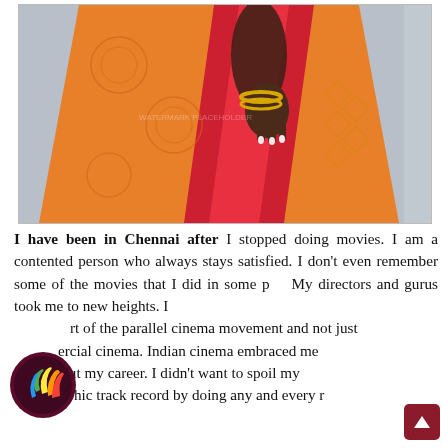[Figure (photo): A woman wearing an orange and red traditional Indian saree (silk), holding the saree fabric with her hand adorned with gold bangles and white nail polish. The background is a light grey wall.]
I have been in Chennai after I stopped doing movies. I am a contented person who always stays satisfied. I don't even remember some of the movies that I did in some p... My directors and gurus took me to new heights. I ...t of the parallel cinema movement and not just ...ercial cinema. Indian cinema embraced me throughout my career. I didn't want to spoil my filmographic track record by doing any and every r...